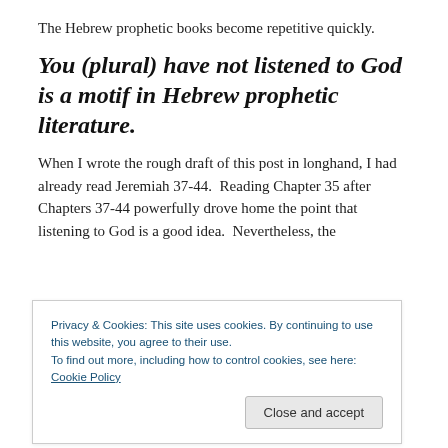The Hebrew prophetic books become repetitive quickly.
You (plural) have not listened to God is a motif in Hebrew prophetic literature.
When I wrote the rough draft of this post in longhand, I had already read Jeremiah 37-44.  Reading Chapter 35 after Chapters 37-44 powerfully drove home the point that listening to God is a good idea.  Nevertheless, the
Privacy & Cookies: This site uses cookies. By continuing to use this website, you agree to their use.
To find out more, including how to control cookies, see here: Cookie Policy
great things for himself (Jeremiah 45).